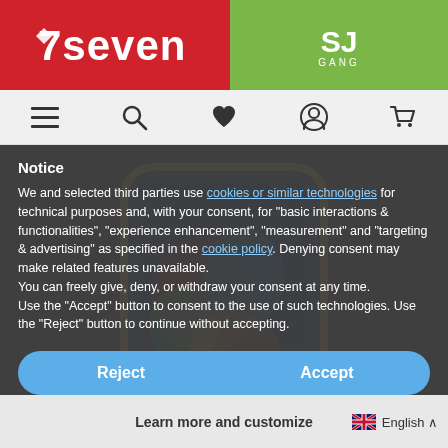[Figure (logo): Seven brand logo in white text on red background]
[Figure (logo): SJ Gang logo in white text on green background]
[Figure (screenshot): Navigation bar with hamburger menu, search, heart, account, and cart icons]
Notice
We and selected third parties use cookies or similar technologies for technical purposes and, with your consent, for “basic interactions & functionalities”, “experience enhancement”, “measurement” and “targeting & advertising” as specified in the cookie policy. Denying consent may make related features unavailable.
You can freely give, deny, or withdraw your consent at any time.
Use the “Accept” button to consent to the use of such technologies. Use the “Reject” button to continue without accepting.
[Figure (photo): Colorful graffiti-style backpack product photo in background]
Reject
Accept
Learn more and customize
English